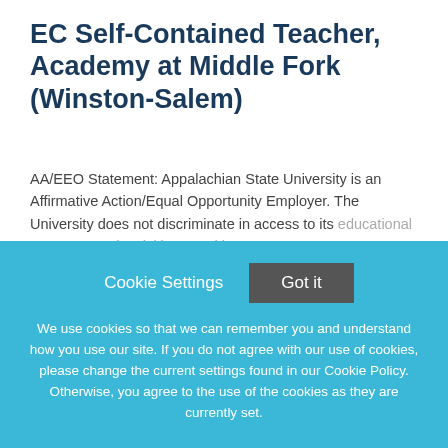EC Self-Contained Teacher, Academy at Middle Fork (Winston-Salem)
AA/EEO Statement: Appalachian State University is an Affirmative Action/Equal Opportunity Employer. The University does not discriminate in access to its educational programs and activities, or with respect to
This job listing is no longer active.
Cookie Settings   Got it
We use cookies so that we can remember you and understand how you use our site. If you do not agree with our use of cookies, please change the current settings found in our Cookie Policy. Otherwise, you agree to the use of the cookies as they are currently set.